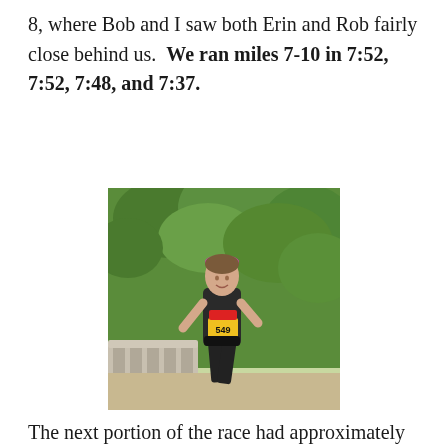8, where Bob and I saw both Erin and Rob fairly close behind us.  We ran miles 7-10 in 7:52, 7:52, 7:48, and 7:37.
[Figure (photo): A female runner wearing a pink headband, black top, and black shorts with race bib number 549, running outdoors with green trees and a stone railing in the background.]
The next portion of the race had approximately three